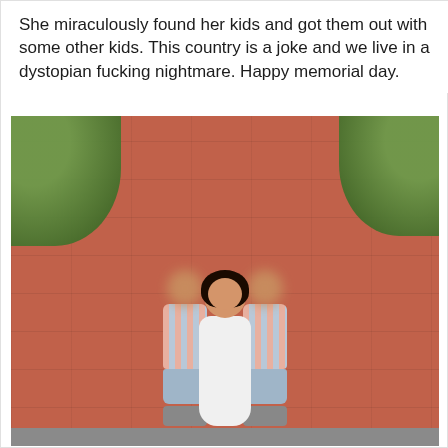She miraculously found her kids and got them out with some other kids. This country is a joke and we live in a dystopian fucking nightmare. Happy memorial day.
[Figure (photo): A woman in a white dress sitting on brick steps with two young boys standing beside her. The boys' faces are pixelated/blurred for privacy. The boys wear matching pink and gray striped shirts with gray shorts. Green foliage is visible in the background.]